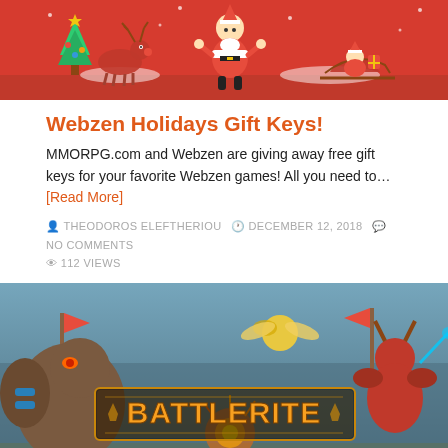[Figure (illustration): Red Christmas-themed banner with cartoon characters: reindeer with Christmas tree, Santa Claus, and Santa in sleigh on red background]
Webzen Holidays Gift Keys!
MMORPG.com and Webzen are giving away free gift keys for your favorite Webzen games! All you need to… [Read More]
THEODOROS ELEFTHERIOU   DECEMBER 12, 2018   NO COMMENTS   112 VIEWS
[Figure (screenshot): Battlerite game promotional banner showing game characters fighting with the 'BATTLERITE' logo in the center]
Battlerite – Armored Black Bear DLC